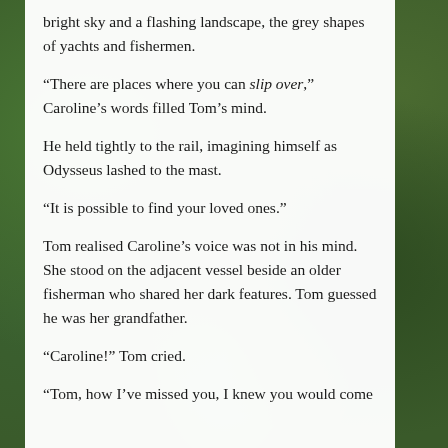bright sky and a flashing landscape, the grey shapes of yachts and fishermen.
“There are places where you can slip over,” Caroline’s words filled Tom’s mind.
He held tightly to the rail, imagining himself as Odysseus lashed to the mast.
“It is possible to find your loved ones.”
Tom realised Caroline’s voice was not in his mind. She stood on the adjacent vessel beside an older fisherman who shared her dark features. Tom guessed he was her grandfather.
“Caroline!” Tom cried.
“Tom, how I’ve missed you, I knew you would come